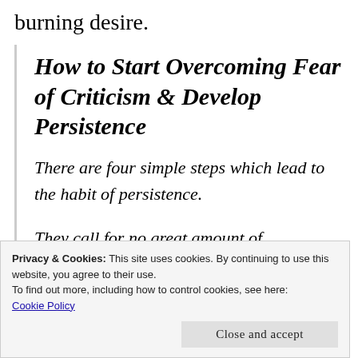burning desire.
How to Start Overcoming Fear of Criticism & Develop Persistence
There are four simple steps which lead to the habit of persistence.
They call for no great amount of
Privacy & Cookies: This site uses cookies. By continuing to use this website, you agree to their use.
To find out more, including how to control cookies, see here:
Cookie Policy
Close and accept